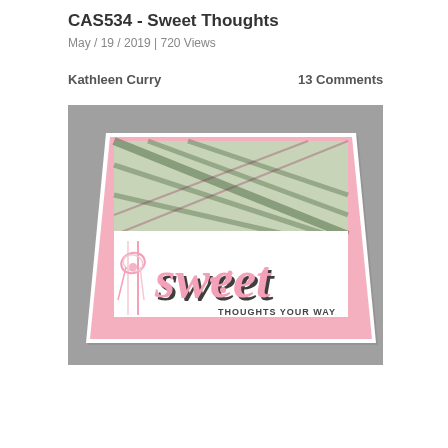CAS534 - Sweet Thoughts
May / 19 / 2019 | 720 Views
Kathleen Curry
13 Comments
[Figure (photo): A handmade greeting card with green plaid patterned paper on the top half, a white banner on the bottom half with the word 'sweet' in large pink and dark script lettering, 'THOUGHTS YOUR WAY' in smaller text, and a pink twine bow on the left side. Card is propped up at an angle on a gray surface.]